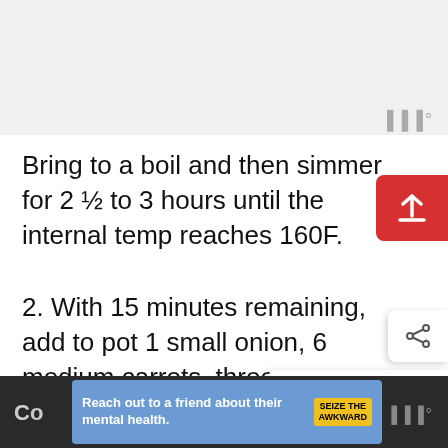[Figure (other): Grey placeholder area at top of page, likely an advertisement or image]
Bring to a boil and then simmer for 2 ½ to 3 hours until the internal temp reaches 160F.
2. With 15 minutes remaining, add to pot 1 small onion, 6 medium carrots, three potatoes (cut in halves).
Co | Reach out to a friend about their mental health. SEIZE THE AWKWARD